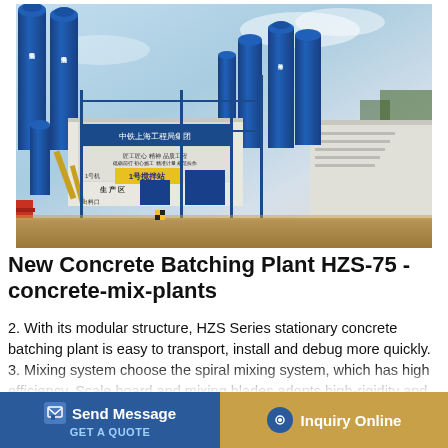[Figure (photo): Photograph of a concrete batching plant (HZS-75) with multiple large blue cylindrical silos, blue structural framework, a white control building with Chinese text signage, and yellow piping. The plant is a construction/industrial facility.]
New Concrete Batching Plant HZS-75 - concrete-mix-plants
2. With its modular structure, HZS Series stationary concrete batching plant is easy to transport, install and debug more quickly. 3. Mixing system choose the spiral mixing system, which has high efficiency. Scale board and mixing blades adopts high-rigidity and high tenacity wearable case alloy life. 4.